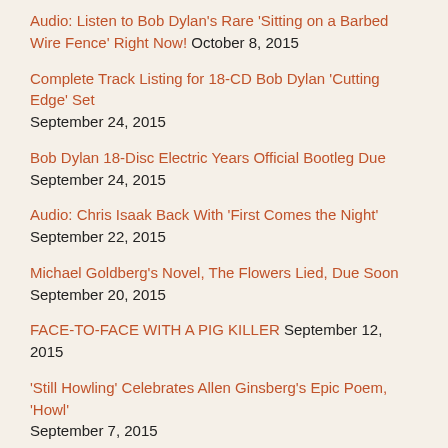Audio: Listen to Bob Dylan's Rare 'Sitting on a Barbed Wire Fence' Right Now! October 8, 2015
Complete Track Listing for 18-CD Bob Dylan 'Cutting Edge' Set September 24, 2015
Bob Dylan 18-Disc Electric Years Official Bootleg Due September 24, 2015
Audio: Chris Isaak Back With 'First Comes the Night' September 22, 2015
Michael Goldberg's Novel, The Flowers Lied, Due Soon September 20, 2015
FACE-TO-FACE WITH A PIG KILLER September 12, 2015
'Still Howling' Celebrates Allen Ginsberg's Epic Poem, 'Howl' September 7, 2015
Video: The Path To Animal Liberation July 23, 2015
Video: Grateful Dead Live In Santa Clara 2015 – Four-Plus Hours – 'Morning Dew' & Much More June 30, 2015
Audio: Bob Dylan In Germany, June 2015 – 'Sad Songs & Waltzes,'